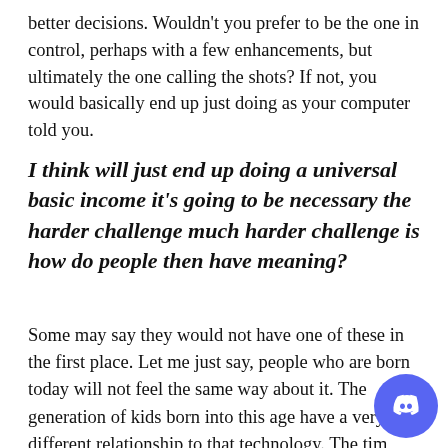better decisions. Wouldn't you prefer to be the one in control, perhaps with a few enhancements, but ultimately the one calling the shots? If not, you would basically end up just doing as your computer told you.
I think will just end up doing a universal basic income it's going to be necessary the harder challenge much harder challenge is how do people then have meaning?
Some may say they would not have one of these in the first place. Let me just say, people who are born today will not feel the same way about it. The generation of kids born into this age have a very different relationship to that technology. The time will quickly come that if you choose to step out of